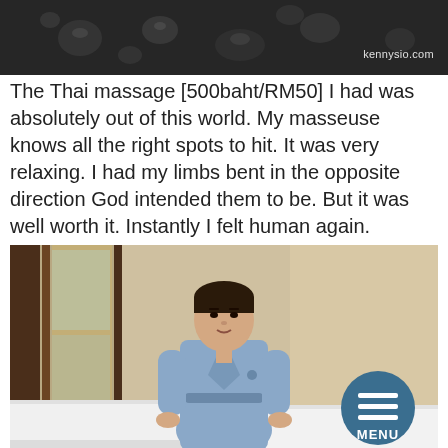[Figure (photo): Top portion of a photo showing what appears to be a dark metallic surface with water droplets, with 'kennysio.com' watermark in bottom right]
The Thai massage [500baht/RM50] I had was absolutely out of this world. My masseuse knows all the right spots to hit. It was very relaxing. I had my limbs bent in the opposite direction God intended them to be. But it was well worth it. Instantly I felt human again.
[Figure (photo): A man wearing a light blue spa robe standing next to white massage tables in a spa room with wooden panel walls and beige walls. A circular blue MENU button is overlaid in the bottom right corner.]